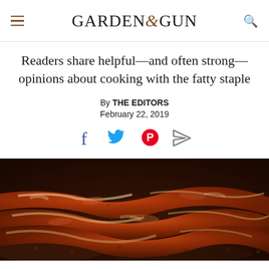GARDEN&GUN
Readers share helpful—and often strong—opinions about cooking with the fatty staple
By THE EDITORS
February 22, 2019
[Figure (other): Social sharing icons: Facebook, Twitter, Pinterest, Share/email]
[Figure (photo): Close-up photo of sizzling bacon strips cooking in a pan, crispy and caramelized with bubbling fat]